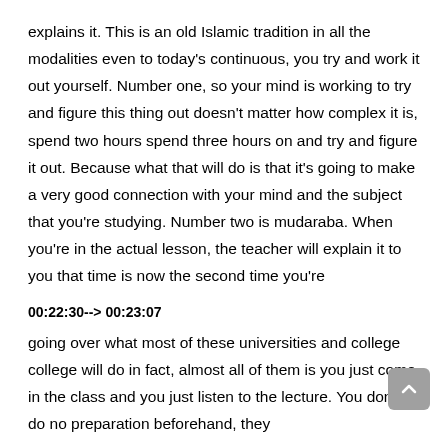explains it. This is an old Islamic tradition in all the modalities even to today's continuous, you try and work it out yourself. Number one, so your mind is working to try and figure this thing out doesn't matter how complex it is, spend two hours spend three hours on and try and figure it out. Because what that will do is that it's going to make a very good connection with your mind and the subject that you're studying. Number two is mudaraba. When you're in the actual lesson, the teacher will explain it to you that time is now the second time you're
00:22:30--> 00:23:07
going over what most of these universities and college college will do in fact, almost all of them is you just come in the class and you just listen to the lecture. You don't do no preparation beforehand, they